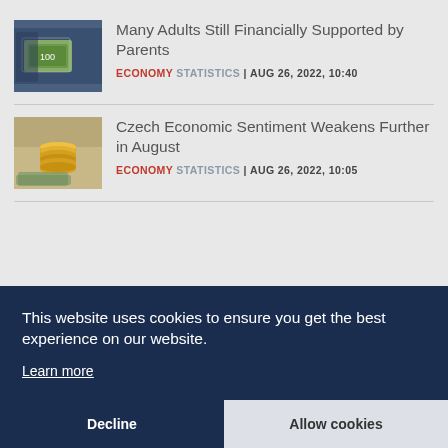[Figure (photo): Photo of bundled banknotes on a wooden surface]
Many Adults Still Financially Supported by Parents
ECONOMY STATISTICS | AUG 26, 2022, 10:40
[Figure (photo): Photo of coins stacked on banknotes]
Czech Economic Sentiment Weakens Further in August
ECONOMY STATISTICS | AUG 26, 2022, 10:05
This website uses cookies to ensure you get the best experience on our website. Learn more